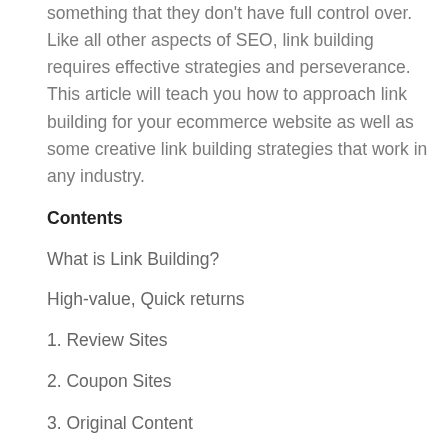something that they don't have full control over. Like all other aspects of SEO, link building requires effective strategies and perseverance. This article will teach you how to approach link building for your ecommerce website as well as some creative link building strategies that work in any industry.
Contents
What is Link Building?
High-value, Quick returns
1. Review Sites
2. Coupon Sites
3. Original Content
Ethical Low Returns
1. Blog Posts
2. FAQ Sections